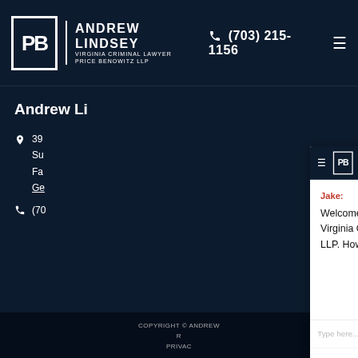Andrew Lindsey Virginia Criminal Lawyer Price Benowitz LLP | (703) 215-1156
Andrew Li...
39... Su... Fa... Ge...
(70...
COPYRIGHT © ANDREW... R... PRIVAC...
[Figure (screenshot): Chat widget overlay showing Andrew Lindsey Virginia Criminal Lawyer Price Benowitz LLP chatbot. Header shows logo and navigation. Chat message from Jake: 'Welcome to the website of Andrew Lindsey, Virginia Criminal Lawyer of Price Benowitz LLP. How may I help you?' Input field reads 'Type here...' Powered by LiveAdmins.]